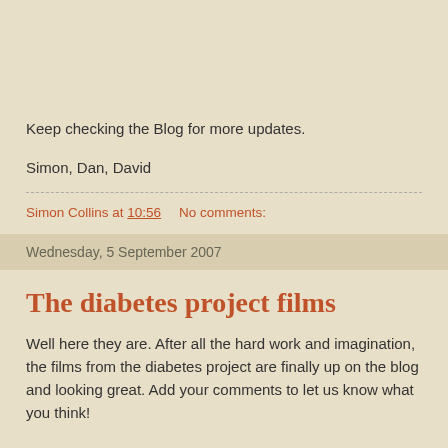Keep checking the Blog for more updates.
Simon, Dan, David
Simon Collins at 10:56    No comments:
Wednesday, 5 September 2007
The diabetes project films
Well here they are. After all the hard work and imagination, the films from the diabetes project are finally up on the blog and looking great. Add your comments to let us know what you think!